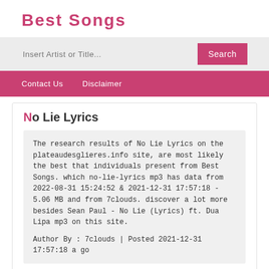Best Songs
Insert Artist or Title...
Contact Us   Disclaimer
No Lie Lyrics
The research results of No Lie Lyrics on the plateaudesglieres.info site, are most likely the best that individuals present from Best Songs. which no-lie-lyrics mp3 has data from 2022-08-31 15:24:52 & 2021-12-31 17:57:18 - 5.06 MB and from 7clouds. discover a lot more besides Sean Paul - No Lie (Lyrics) ft. Dua Lipa mp3 on this site.

Author By : 7clouds | Posted 2021-12-31 17:57:18 a go
Select the song of No Lie Lyrics you want to download, if you don't find a song, please search only for artist or song title